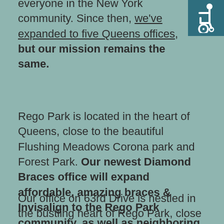everyone in the New York community. Since then, we've expanded to five Queens offices, but our mission remains the same.
[Figure (illustration): Wheelchair accessibility icon — white stylized figure in wheelchair on dark teal background]
Rego Park is located in the heart of Queens, close to the beautiful Flushing Meadows Corona park and Forest Park. Our newest Diamond Braces office will expand affordable, amazing braces & Invisalign to the Rego Park community, as well as neighboring Middle Village, Glendale, and Elmhurst.
Our office on 63rd Drive is nestled in the bustling heart of Rego Park, close to shopping